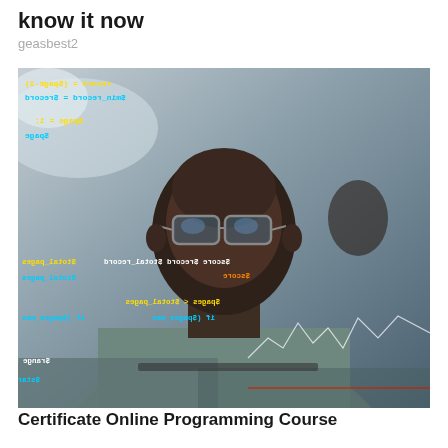know it now
geasbest2
[Figure (photo): A man wearing glasses and a grey shirt sits at a laptop, with mirrored/reflected code text overlay on a glass surface in front of him, including yellow, cyan, and orange programming text fragments]
Certificate Online Programming Course